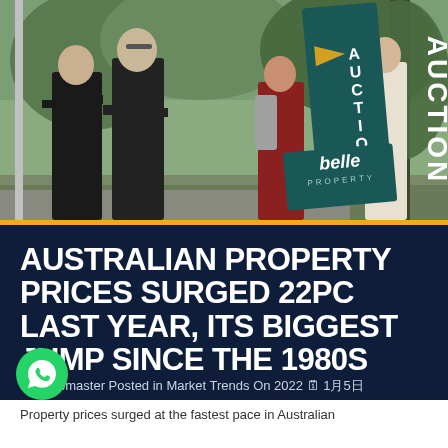[Figure (photo): Photo of people standing outside at a property auction with a teal 'AUCTION' banner sign from Belle Property real estate agency. Several people are visible on a footpath, and a large vertical auction sign is prominent in the scene.]
AUSTRALIAN PROPERTY PRICES SURGED 22PC LAST YEAR, ITS BIGGEST JUMP SINCE THE 1980S
By Webmaster Posted in Market Trends On 2022 🗓 1月5日
[Figure (logo): WhatsApp phone icon in green circle]
Property prices surged at the fastest pace in Australian